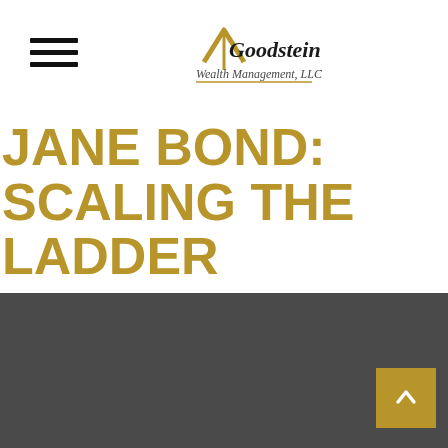Goodstein Wealth Management, LLC
JANE BOND: SCALING THE LADDER
Agent Jane Bond is on the case, uncovering the mystery of bond laddering.